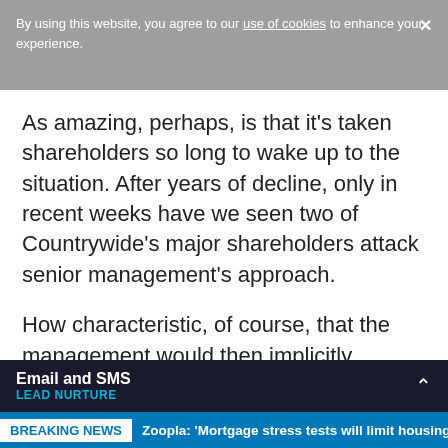By using this website, you agree to our use of cookies to enhance your experience.
As amazing, perhaps, is that it's taken shareholders so long to wake up to the situation. After years of decline, only in recent weeks have we seen two of Countrywide's major shareholders attack senior management's approach.
How characteristic, of course, that the management would then implicitly criticise those same shareholders by telling the press that [company] and investors was
Email and SMS LEAD NURTURE
BREAKING NEWS Zoopla: 'Mortgage stress tests will limit housing ma